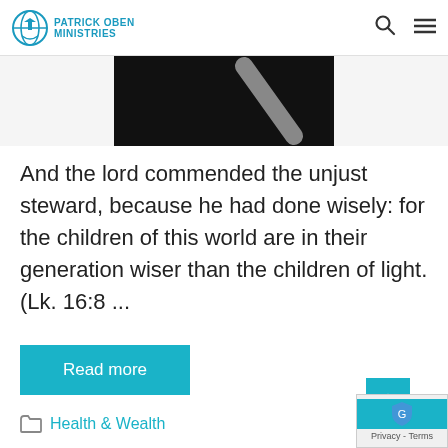PATRICK OBEN MINISTRIES
[Figure (photo): Partial image showing a dark/black background with a light diagonal object, cropped at the top of the content area]
And the lord commended the unjust steward, because he had done wisely: for the children of this world are in their generation wiser than the children of light. (Lk. 16:8 ...
Read more
Health & Wealth